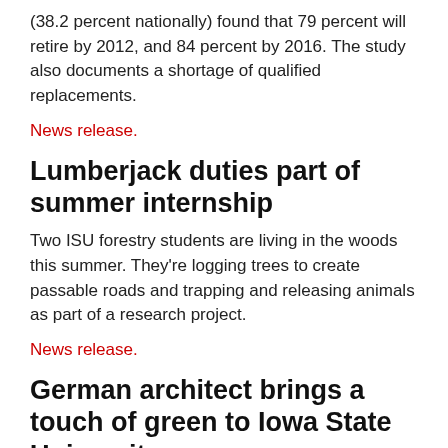(38.2 percent nationally) found that 79 percent will retire by 2012, and 84 percent by 2016. The study also documents a shortage of qualified replacements.
News release.
Lumberjack duties part of summer internship
Two ISU forestry students are living in the woods this summer. They're logging trees to create passable roads and trapping and releasing animals as part of a research project.
News release.
German architect brings a touch of green to Iowa State University
Iowa State University is learning some European lessons on sustainable design from a German architect. For the